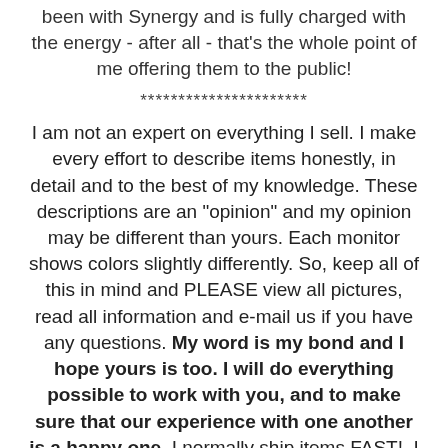been with Synergy and is fully charged with the energy - after all - that's the whole point of me offering them to the public!
**********************
I am not an expert on everything I sell. I make every effort to describe items honestly, in detail and to the best of my knowledge. These descriptions are an "opinion" and my opinion may be different than yours. Each monitor shows colors slightly differently. So, keep all of this in mind and PLEASE view all pictures, read all information and e-mail us if you have any questions. My word is my bond and I hope yours is too. I will do everything possible to work with you, and to make sure that our experience with one another is a happy one. I normally ship items FAST!  I try very hard to get things out within one to two business days of